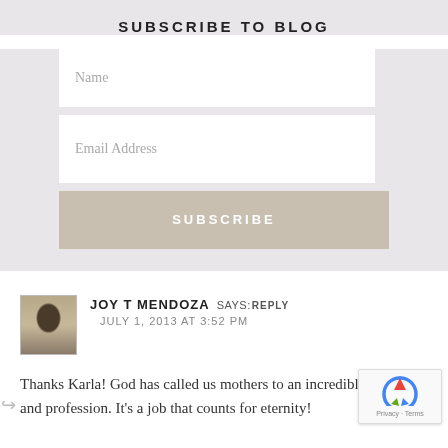SUBSCRIBE TO BLOG
[Figure (screenshot): Name input field (white text input box)]
[Figure (screenshot): Email Address input field (white text input box)]
SUBSCRIBE
[Figure (photo): Avatar photo of Joy T Mendoza, a woman with sunglasses]
JOY T MENDOZA SAYS: REPLY
JULY 1, 2013 AT 3:52 PM
Thanks Karla! God has called us mothers to an incredible journey and profession. It's a job that counts for eternity!